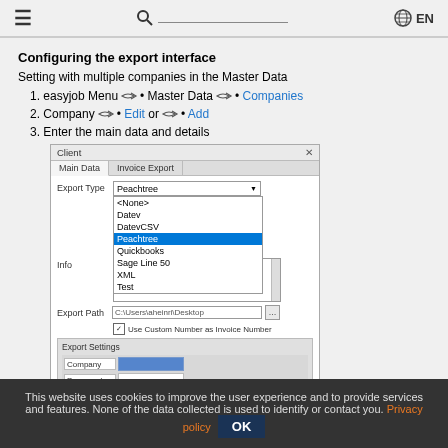≡ [search] EN
Configuring the export interface
Setting with multiple companies in the Master Data
1. easyjob Menu → • Master Data → • Companies
2. Company → • Edit or → • Add
3. Enter the main data and details
[Figure (screenshot): Dialog window titled 'Client' with tabs 'Main Data' and 'Invoice Export'. Shows Export Type dropdown with Peachtree selected (highlighted in blue) in a list containing: <None>, Datev, DatevCSV, Peachtree, Quickbooks, Sage Line 50, XML, Test. Export Path field showing C:\Users\aheinri\Desktop. Checkbox: Use Custom Number as Invoice Number. Export Settings section with Company and Password fields.]
This website uses cookies to improve the user experience and to provide services and features. None of the data collected is used to identify or contact you. Privacy policy OK